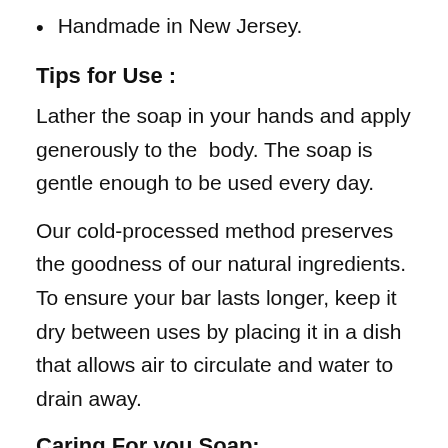Handmade in New Jersey.
Tips for Use :
Lather the soap in your hands and apply generously to the  body. The soap is gentle enough to be used every day.
Our cold-processed method preserves the goodness of our natural ingredients. To ensure your bar lasts longer, keep it dry between uses by placing it in a dish that allows air to circulate and water to drain away.
Caring For you Soap:
Your soap will last much longer if you always